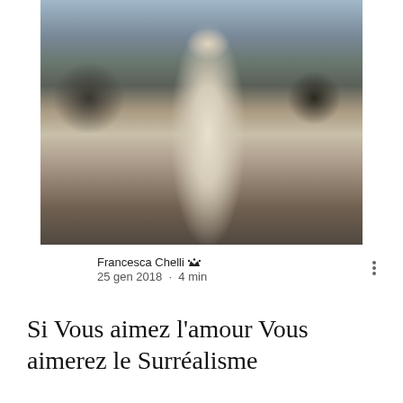[Figure (photo): A woman wearing a white midi dress and a large fur vest stands in the middle of a Parisian street at a crosswalk, with the Arc de Triomphe visible in the background. She has long blonde hair and wears white gloves. Other pedestrians and cars are visible on the sidewalk and street.]
Francesca Chelli 👑
25 gen 2018  ·  4 min
Si Vous aimez l'amour Vous aimerez le Surréalisme